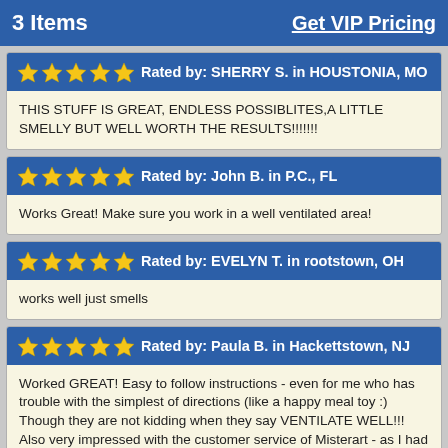3 Items   Get VIP Pricing
Rated by: SHERRY S. in HOUSTONIA, MO
THIS STUFF IS GREAT, ENDLESS POSSIBLITES,A LITTLE SMELLY BUT WELL WORTH THE RESULTS!!!!!!!
Rated by: John B. in P.C., FL
Works Great! Make sure you work in a well ventilated area!
Rated by: EVELYN T. in rootstown, OH
works well just smells
Rated by: Paula B. in Hackettstown, NJ
Worked GREAT! Easy to follow instructions - even for me who has trouble with the simplest of directions (like a happy meal toy :) Though they are not kidding when they say VENTILATE WELL!!! Also very impressed with the customer service of Misterart - as I had